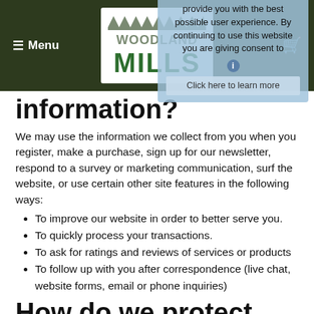≡ Menu | Woodland Mills | Cart
information?
We may use the information we collect from you when you register, make a purchase, sign up for our newsletter, respond to a survey or marketing communication, surf the website, or use certain other site features in the following ways:
To improve our website in order to better serve you.
To quickly process your transactions.
To ask for ratings and reviews of services or products
To follow up with you after correspondence (live chat, website forms, email or phone inquiries)
[Figure (screenshot): Cookie consent popup overlay: 'This site uses cookies so we can provide you with the best possible user experience. By continuing to use this website you are giving consent to' with info icon and 'Click here to learn more' button]
How do we protect your